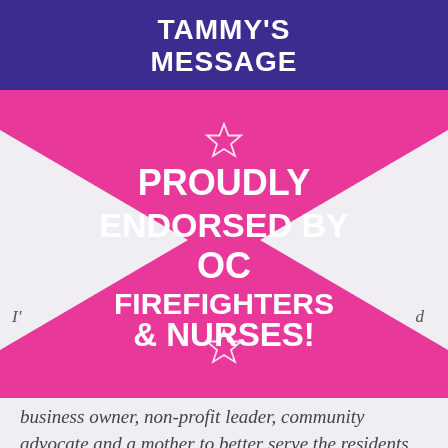TAMMY'S MESSAGE
[Figure (infographic): Pink hourglass/bowtie shaped banner with white star outlines at top and bottom center. Text reads: PROUDLY ENDORSED BY OC FIREFIGHTERS & NURSES! Partial italic text visible at the sides near bottom of the shape: I'... ...d]
business owner, non-profit leader, community advocate and a mother to better serve the residents, businesses and community organizations that help to make